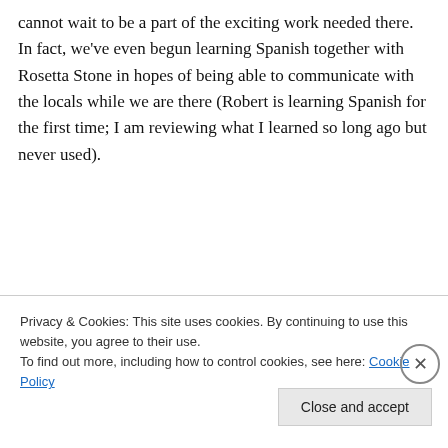cannot wait to be a part of the exciting work needed there. In fact, we've even begun learning Spanish together with Rosetta Stone in hopes of being able to communicate with the locals while we are there (Robert is learning Spanish for the first time; I am reviewing what I learned so long ago but never used).
[Figure (other): Red advertisement banner reading 'The best stories on the web – ours, and everyone else's.' with a black 'Start reading' button]
Privacy & Cookies: This site uses cookies. By continuing to use this website, you agree to their use.
To find out more, including how to control cookies, see here: Cookie Policy
Close and accept